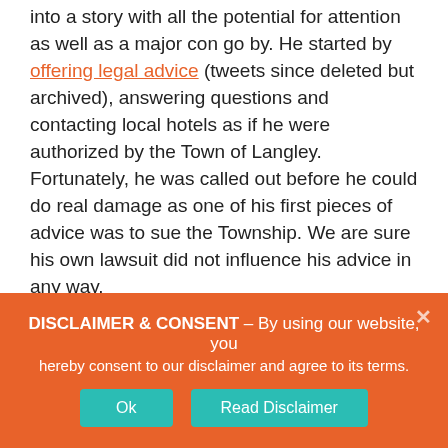into a story with all the potential for attention as well as a major con go by. He started by offering legal advice (tweets since deleted but archived), answering questions and contacting local hotels as if he were authorized by the Town of Langley. Fortunately, he was called out before he could do real damage as one of his first pieces of advice was to sue the Township. We are sure his own lawsuit did not influence his advice in any way.
When Twitter began posting about how illegal it was for a non-lawyer to offer legal advice and how to launch a complaint, he quickly deleted those tweets but as one observer pointed out, him claiming to be a...
DISCLAIMER & CONSENT - By using our website, you hereby consent to our disclaimer and agree to its terms.